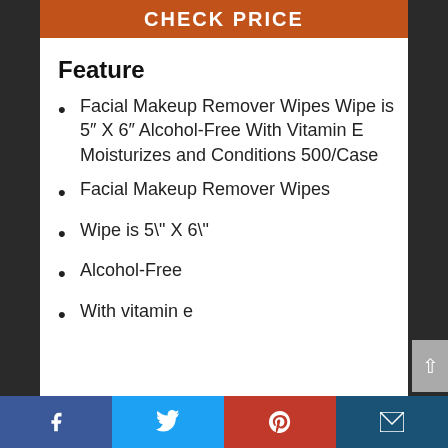[Figure (other): Orange button bar with text CHECK PRICE]
Feature
Facial Makeup Remover Wipes Wipe is 5" X 6" Alcohol-Free With Vitamin E Moisturizes and Conditions 500/Case
Facial Makeup Remover Wipes
Wipe is 5\" X 6\"
Alcohol-Free
With vitamin e
Social share bar: Facebook, Twitter, Pinterest, Email